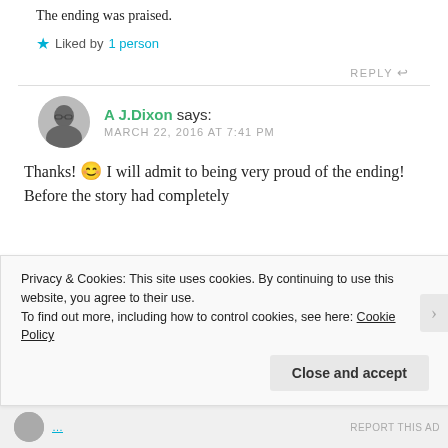The ending was praised.
★ Liked by 1 person
REPLY ↩
A J.Dixon says: MARCH 22, 2016 AT 7:41 PM
Thanks! 😊 I will admit to being very proud of the ending! Before the story had completely
Privacy & Cookies: This site uses cookies. By continuing to use this website, you agree to their use.
To find out more, including how to control cookies, see here: Cookie Policy
Close and accept